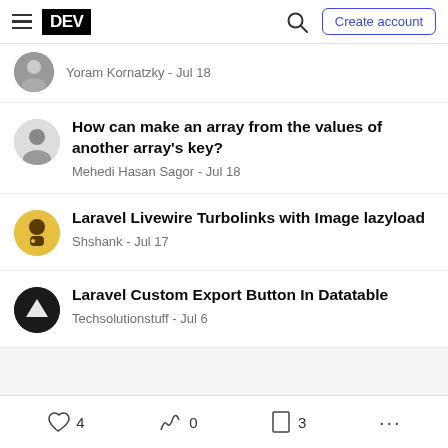DEV — Create account
Yoram Kornatzky - Jul 18
How can make an array from the values of another array's key?
Mehedi Hasan Sagor - Jul 18
Laravel Livewire Turbolinks with Image lazyload
Shshank - Jul 17
Laravel Custom Export Button In Datatable
Techsolutionstuff - Jul 6
♡ 4   0   ☐ 3   ...